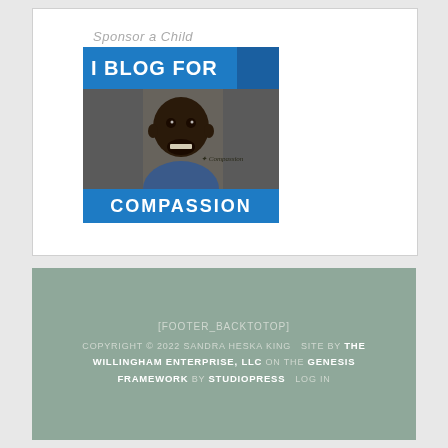Sponsor a Child
[Figure (illustration): Compassion International blog banner showing 'I BLOG FOR' text in white on blue background with blue square, a smiling child photo, Compassion logo, and 'COMPASSION' text at bottom on blue strip]
[FOOTER_BACKTOTOP] COPYRIGHT © 2022 SANDRA HESKA KING  SITE BY THE WILLINGHAM ENTERPRISE, LLC ON THE GENESIS FRAMEWORK BY STUDIOPRESS  LOG IN